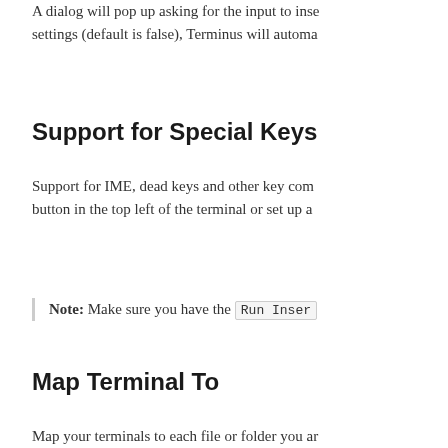A dialog will pop up asking for the input to inse... settings (default is false), Terminus will automa...
Support for Special Keys
Support for IME, dead keys and other key com... button in the top left of the terminal or set up a...
Note: Make sure you have the Run Inser...
Map Terminal To
Map your terminals to each file or folder you ar...
File